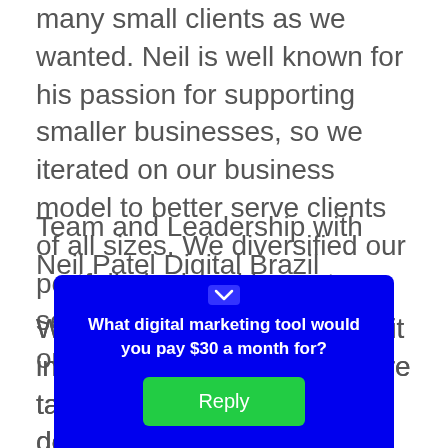many small clients as we wanted. Neil is well known for his passion for supporting smaller businesses, so we iterated on our business model to better serve clients of all sizes. We diversified our portfolio by breaking out our services and being flexible in our offerings.
Team and Leadership with Neil Patel Digital Brazil
We look for people who will fit into our culture here. We were tasked with “protecting every dollar that clients spend with us,” — Paulo Medeiros, COO of Neil Patel Digital Brazil. Our team m…
[Figure (other): Blue popup overlay with white bold text asking 'What digital marketing tool would you pay $30 a month for?' and a green 'Reply' button]